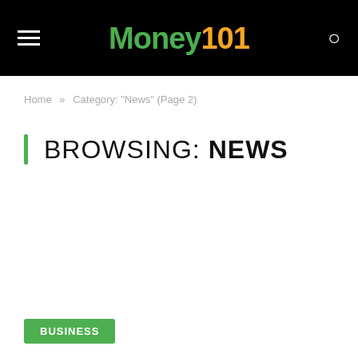Money101
Home » Category: "News" (Page 2)
BROWSING:  NEWS
BUSINESS